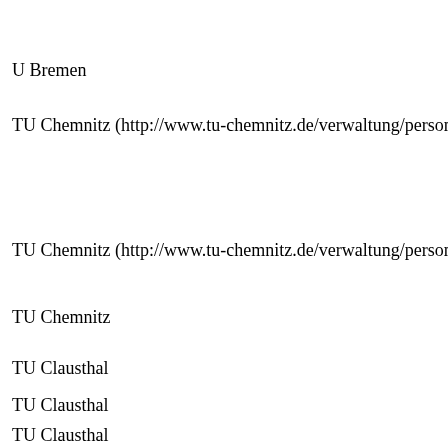U Bremen
TU Chemnitz (http://www.tu-chemnitz.de/verwaltung/personal/stellen
TU Chemnitz (http://www.tu-chemnitz.de/verwaltung/personal/stellen
TU Chemnitz
TU Clausthal
TU Clausthal
TU Clausthal